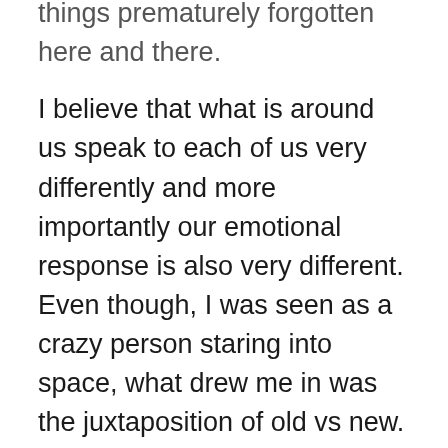things prematurely forgotten here and there. I believe that what is around us speak to each of us very differently and more importantly our emotional response is also very different. Even though, I was seen as a crazy person staring into space, what drew me in was the juxtaposition of old vs new. Every time I am faced with something interesting what strikes me are the how and why? I've come across some amazing architecture and it made want to dive into the architects mind. It always makes me wonder what they thinking when they were drawing? what was the idea behind it? The design, the details, the technical aspects. After standing in awe, then I look around to try to find to find unique aspects of the